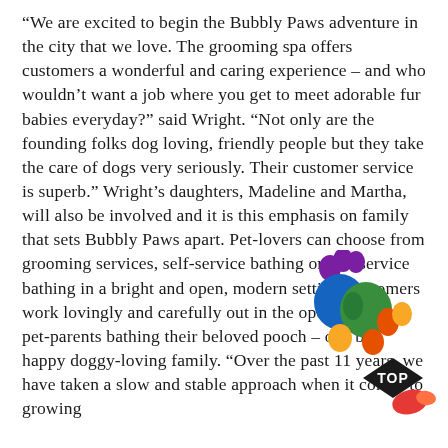“We are excited to begin the Bubbly Paws adventure in the city that we love. The grooming spa offers customers a wonderful and caring experience – and who wouldn’t want a job where you get to meet adorable fur babies everyday?” said Wright. “Not only are the founding folks dog loving, friendly people but they take the care of dogs very seriously. Their customer service is superb.” Wright’s daughters, Madeline and Martha, will also be involved and it is this emphasis on family that sets Bubbly Paws apart. Pet-lovers can choose from grooming services, self-service bathing or full-service bathing in a bright and open, modern setting. Groomers work lovingly and carefully out in the open alongside pet-parents bathing their beloved pooch – one big happy doggy-loving family. “Over the past 11 years, we have taken a slow and stable approach when it comes to growing
[Figure (logo): Bubbly Paws colorful paw print logo with a black diamond TOP badge at the bottom right]